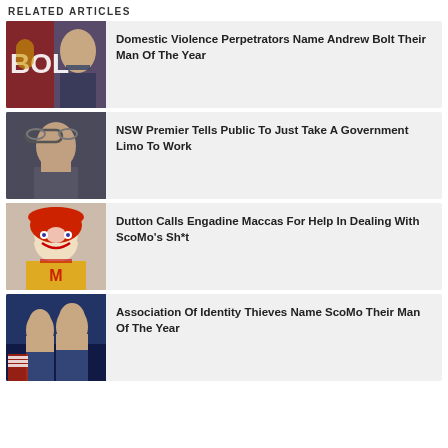RELATED ARTICLES
Domestic Violence Perpetrators Name Andrew Bolt Their Man Of The Year
NSW Premier Tells Public To Just Take A Government Limo To Work
Dutton Calls Engadine Maccas For Help In Dealing With ScoMo's Sh*t
Association Of Identity Thieves Name ScoMo Their Man Of The Year